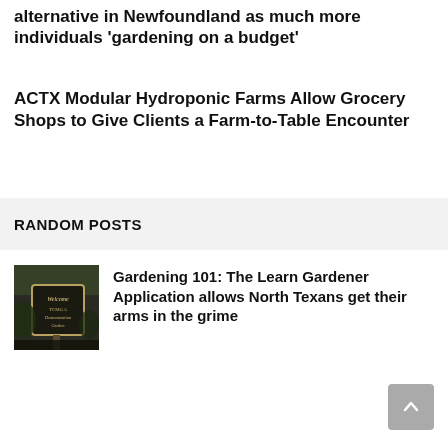alternative in Newfoundland as much more individuals 'gardening on a budget'
ACTX Modular Hydroponic Farms Allow Grocery Shops to Give Clients a Farm-to-Table Encounter
RANDOM POSTS
[Figure (photo): Welcome TCMGA Demonstration Garden sign]
Gardening 101: The Learn Gardener Application allows North Texans get their arms in the grime